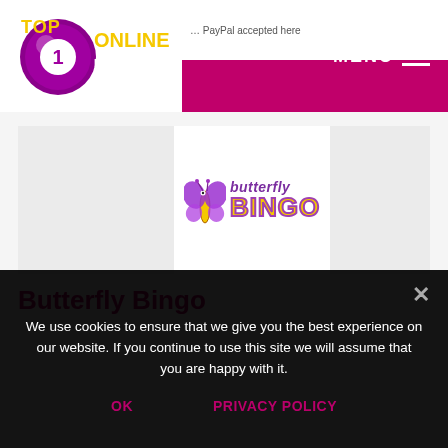Top1OnlineBingoSites.com — MENU
PayPal accepted here
[Figure (logo): Butterfly Bingo logo with purple butterfly icon and yellow BINGO text on white/light grey background card]
Butterfly Bingo
We use cookies to ensure that we give you the best experience on our website. If you continue to use this site we will assume that you are happy with it.
OK   PRIVACY POLICY